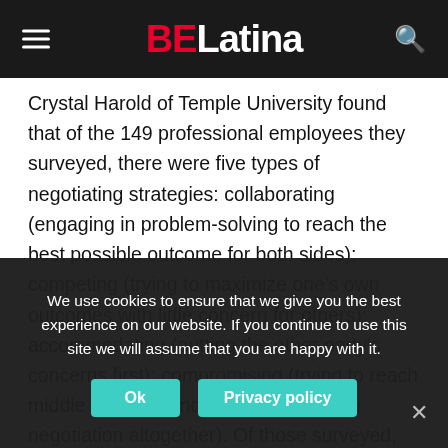BELatina
Crystal Harold of Temple University found that of the 149 professional employees they surveyed, there were five types of negotiating strategies: collaborating (engaging in problem-solving to reach the best possible outcome for both sides); competing (trying to maximize one's own outcomes with little concern for others); accommodating (putting the other party's concerns first); compromising (trying to reach middle ground); and avoiding (dodging negotiation altogether). Of those surveyed, those who chose to negotiate salary, rather than accepting the offer on the table, increased their starting pay by an average of $5,000, primarily by using competing
We use cookies to ensure that we give you the best experience on our website. If you continue to use this site we will assume that you are happy with it.